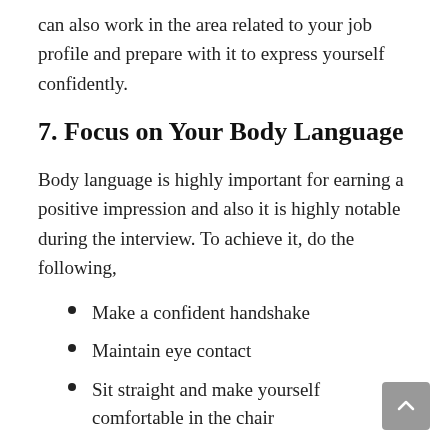can also work in the area related to your job profile and prepare with it to express yourself confidently.
7. Focus on Your Body Language
Body language is highly important for earning a positive impression and also it is highly notable during the interview. To achieve it, do the following,
Make a confident handshake
Maintain eye contact
Sit straight and make yourself comfortable in the chair
Appear will smile in your face